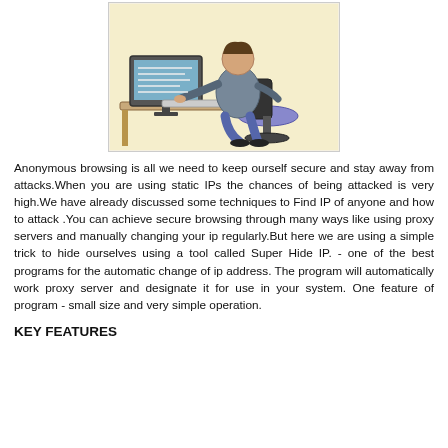[Figure (illustration): Sketch/illustration of a person sitting at a desk using a computer, drawn in a loose ink and watercolor style with blue/grey tones for clothing and a warm yellow background.]
Anonymous browsing is all we need to keep ourself secure and stay away from attacks.When you are using static IPs the chances of being attacked is very high.We have already discussed some techniques to Find IP of anyone and how to attack .You can achieve secure browsing through many ways like using proxy servers and manually changing your ip regularly.But here we are using a simple trick to hide ourselves using a tool called Super Hide IP. - one of the best programs for the automatic change of ip address. The program will automatically work proxy server and designate it for use in your system. One feature of program - small size and very simple operation.
KEY FEATURES